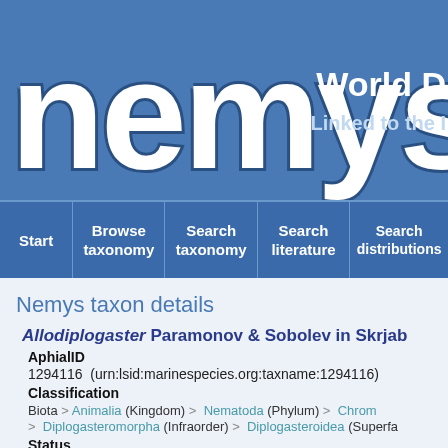[Figure (logo): Nemys logo with stylized white text on blue background]
World D
Linked to the I
Start | Browse taxonomy | Search taxonomy | Search literature | Search distributions
Nemys taxon details
Allodiplogaster Paramonov & Sobolev in Skrjab
AphialID
1294116  (urn:lsid:marinespecies.org:taxname:1294116)
Classification
Biota > Animalia (Kingdom) > Nematoda (Phylum) > Chrom > Diplogasteromorpha (Infraorder) > Diplogasteroidea (Superfa
Status
accepted